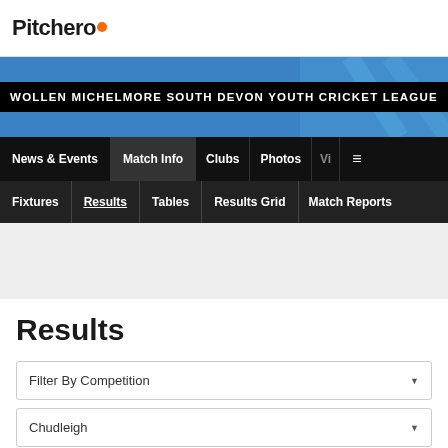Pitchero
[Figure (illustration): Blue hero banner with black background text reading WOLLEN MICHELMORE SOUTH DEVON YOUTH CRICKET LEAGUE]
News & Events | Match Info | Clubs | Photos | V... | ≡
Fixtures | Results | Tables | Results Grid | Match Reports
Results
Filter By Competition
Chudleigh